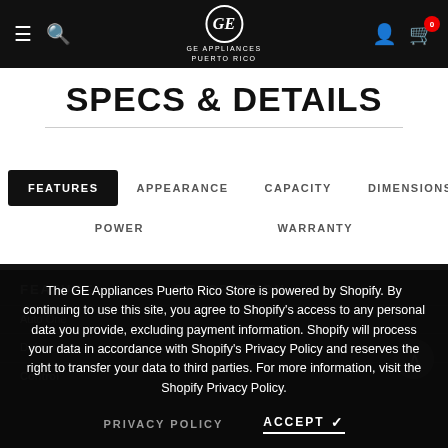GE APPLIANCES PUERTO RICO — Navigation bar with hamburger, search, logo, user and cart icons
SPECS & DETAILS
FEATURES
APPEARANCE
CAPACITY
DIMENSIONS
POWER
WARRANTY
| FEATURE | DESCRIPTION |
| --- | --- |
| Auto One | ... |
| Defrost | ... |
| Control | ... |
The GE Appliances Puerto Rico Store is powered by Shopify. By continuing to use this site, you agree to Shopify’s access to any personal data you provide, excluding payment information. Shopify will process your data in accordance with Shopify’s Privacy Policy and reserves the right to transfer your data to third parties. For more information, visit the Shopify Privacy Policy.
PRIVACY POLICY
ACCEPT ✓